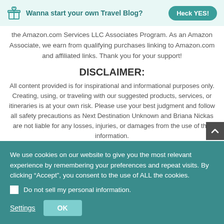Wanna start your own Travel Blog? Heck YES!
the Amazon.com Services LLC Associates Program. As an Amazon Associate, we earn from qualifying purchases linking to Amazon.com and affiliated links. Thank you for your support!
DISCLAIMER:
All content provided is for inspirational and informational purposes only. Creating, using, or traveling with our suggested products, services, or itineraries is at your own risk. Please use your best judgment and follow all safety precautions as Next Destination Unknown and Briana Nickas are not liable for any losses, injuries, or damages from the use of this information.
We use cookies on our website to give you the most relevant experience by remembering your preferences and repeat visits. By clicking “Accept”, you consent to the use of ALL the cookies.
Do not sell my personal information.
Settings   OK